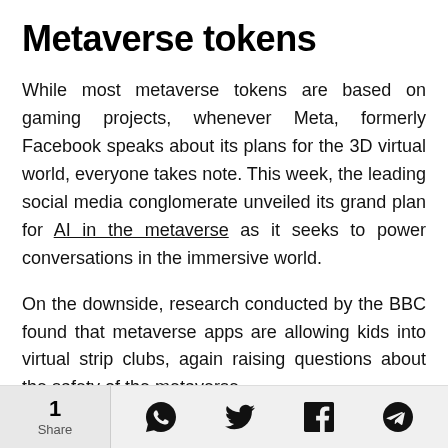Metaverse tokens
While most metaverse tokens are based on gaming projects, whenever Meta, formerly Facebook speaks about its plans for the 3D virtual world, everyone takes note. This week, the leading social media conglomerate unveiled its grand plan for AI in the metaverse as it seeks to power conversations in the immersive world.
On the downside, research conducted by the BBC found that metaverse apps are allowing kids into virtual strip clubs, again raising questions about the safety of the metaverse.
1 Share | WhatsApp | Twitter | Facebook | Telegram